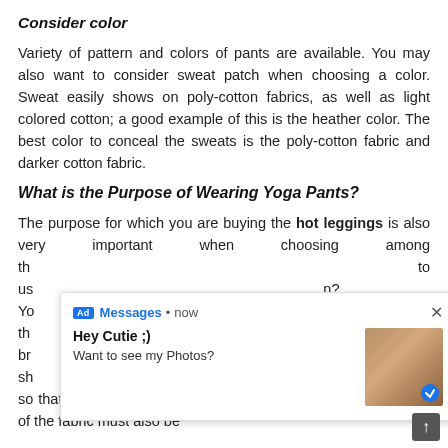Consider color
Variety of pattern and colors of pants are available. You may also want to consider sweat patch when choosing a color. Sweat easily shows on poly-cotton fabrics, as well as light colored cotton; a good example of this is the heather color. The best color to conceal the sweats is the poly-cotton fabric and darker cotton fabric.
What is the Purpose of Wearing Yoga Pants?
The purpose for which you are buying the hot leggings is also very important when choosing among the [obscured by ad] to us [obscured] on? Yo [obscured] eed the [obscured] der br [obscured] It sh [obscured] tch adequately so that you can move around easily in the pants. The durability of the fabric must also be
[Figure (screenshot): Ad overlay notification: 'Ad Messages • now' with close button (×), showing 'Hey Cutie ;)' and 'Want to see my Photos?' with a thumbnail image]